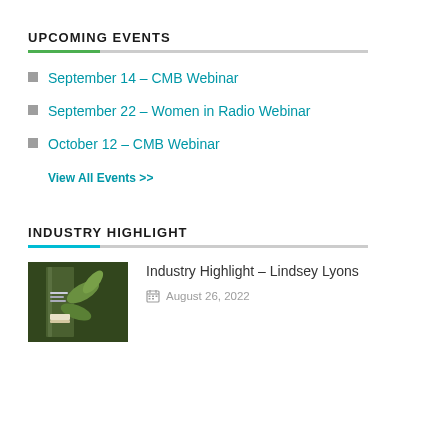UPCOMING EVENTS
September 14 – CMB Webinar
September 22 – Women in Radio Webinar
October 12 – CMB Webinar
View All Events >>
INDUSTRY HIGHLIGHT
[Figure (photo): Dark background photo showing a book or publication titled Lindsey Lyons with green plant/leaf elements]
Industry Highlight – Lindsey Lyons
August 26, 2022